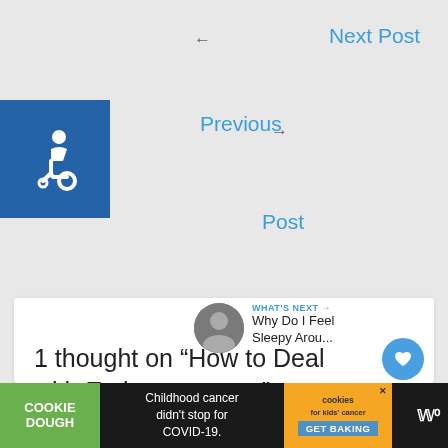← Next Post
Previous Post →
[Figure (illustration): Wheelchair accessibility icon, white on blue square background]
1 thought on “How to Deal with Embarrassment”
WHAT'S NEXT → Why Do I Feel Sleepy Arou...
Childhood cancer didn't stop for COVID-19.
COOKIE DOUGH
cookies for kids' cancer GET BAKING